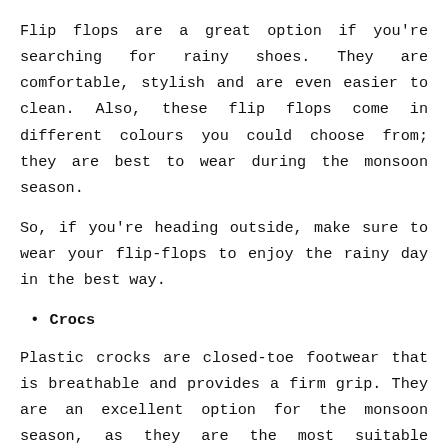Flip flops are a great option if you're searching for rainy shoes. They are comfortable, stylish and are even easier to clean. Also, these flip flops come in different colours you could choose from; they are best to wear during the monsoon season.
So, if you're heading outside, make sure to wear your flip-flops to enjoy the rainy day in the best way.
Crocs
Plastic crocks are closed-toe footwear that is breathable and provides a firm grip. They are an excellent option for the monsoon season, as they are the most suitable footwear that can be cleaned and dried out quickly. Besides